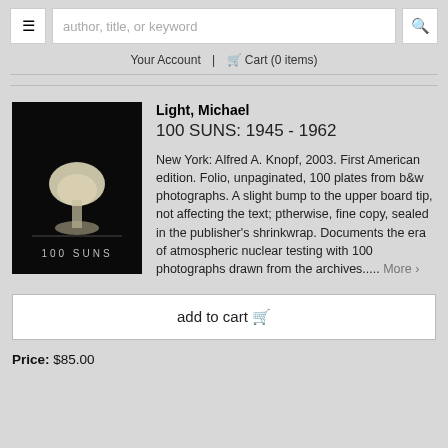author, title, or keyword | Your Account | Cart (0 items)
[Figure (photo): Book cover of '100 SUNS' showing a mushroom cloud silhouette against dark background with text '100 SUNS' at bottom]
Light, Michael
100 SUNS: 1945 - 1962
New York: Alfred A. Knopf, 2003. First American edition. Folio, unpaginated, 100 plates from b&w photographs. A slight bump to the upper board tip, not affecting the text; ptherwise, fine copy, sealed in the publisher's shrinkwrap. Documents the era of atmospheric nuclear testing with 100 photographs drawn from the archives..... More
add to cart
Price: $85.00